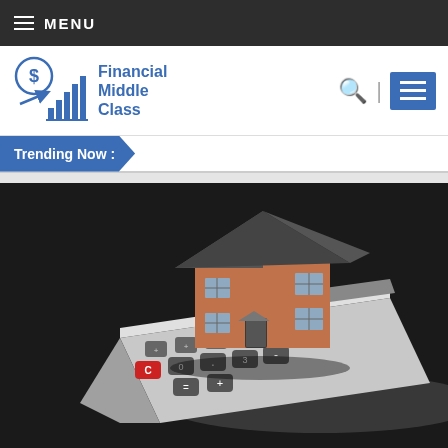≡ MENU
[Figure (logo): Financial Middle Class logo with dollar sign graph icon and text 'Financial Middle Class']
Trending Now :
[Figure (photo): 3D rendering of a brick house sitting on top of a calculator, dark background, representing home mortgage or real estate financial calculation]